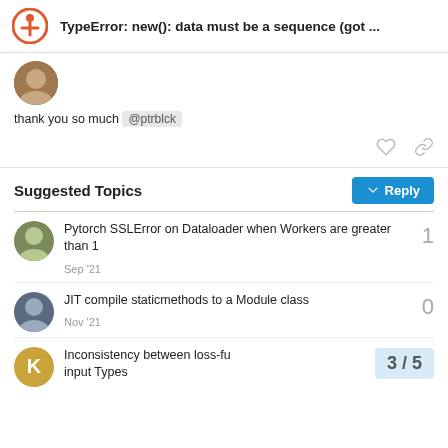TypeError: new(): data must be a sequence (got ...
thank you so much @ptrblck
Suggested Topics
Pytorch SSLError on Dataloader when Workers are greater than 1 — 1 reply — Sep '21
JIT compile staticmethods to a Module class — 0 replies — Nov '21
Inconsistency between loss-fu... input Types — 3/5